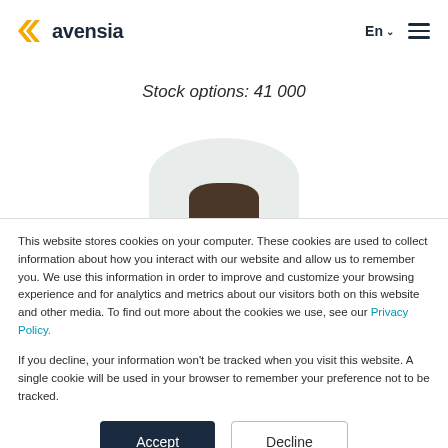[Figure (logo): Avensia logo with yellow chevron arrows and dark blue text 'avensia']
Stock options: 41 000
[Figure (photo): Partial photo of a person, showing top of head with dark hair, circular crop, light gray background]
This website stores cookies on your computer. These cookies are used to collect information about how you interact with our website and allow us to remember you. We use this information in order to improve and customize your browsing experience and for analytics and metrics about our visitors both on this website and other media. To find out more about the cookies we use, see our Privacy Policy.
If you decline, your information won’t be tracked when you visit this website. A single cookie will be used in your browser to remember your preference not to be tracked.